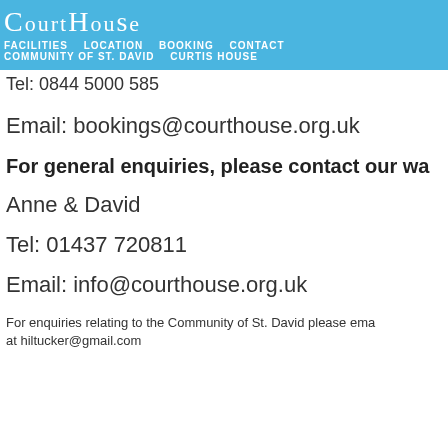CourTHoUse | FACILITIES | LOCATION | BOOKING | CONTACT | COMMUNITY OF ST. DAVID | CURTIS HOUSE
Tel: 0844 5000 585
Email: bookings@courthouse.org.uk
For general enquiries, please contact our wa
Anne & David
Tel: 01437 720811
Email: info@courthouse.org.uk
For enquiries relating to the Community of St. David please ema at hiltucker@gmail.com